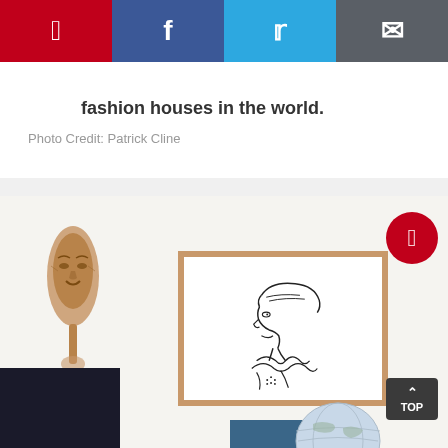[Figure (infographic): Social sharing bar with Pinterest (red), Facebook (dark blue), Twitter (light blue), and Email (gray) buttons]
while the rugs were placed from some of the finest fashion houses in the world.
Photo Credit: Patrick Cline
[Figure (photo): Interior room photo showing a wall with an African wooden mask on the left, a framed line-drawing portrait of a woman in profile wearing a ruffled collar and hat in the center, a Pinterest circle button overlay on the right side, a dark panel in the bottom left corner, a blue book and globe in the bottom area, and a TOP button in the bottom right corner.]